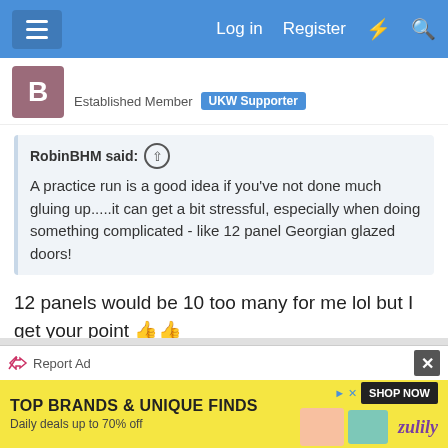Log in  Register
Established Member  UKW Supporter
RobinBHM said: ↑  A practice run is a good idea if you've not done much gluing up.....it can get a bit stressful, especially when doing something complicated - like 12 panel Georgian glazed doors!
12 panels would be 10 too many for me lol but I get your point 👍👍
Reply
Report Ad
TOP BRANDS & UNIQUE FINDS
Daily deals up to 70% off
SHOP NOW
zulily